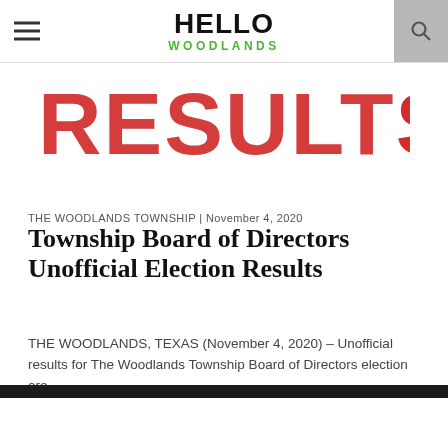HELLO WOODLANDS
[Figure (photo): Red stamp-style 'RESULTS' text banner image]
THE WOODLANDS TOWNSHIP | November 4, 2020
Township Board of Directors Unofficial Election Results
THE WOODLANDS, TEXAS (November 4, 2020) – Unofficial results for The Woodlands Township Board of Directors election are...